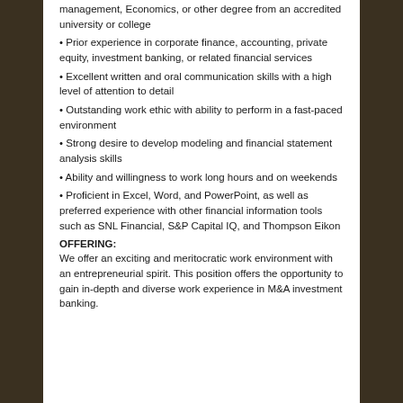management, Economics, or other degree from an accredited university or college
Prior experience in corporate finance, accounting, private equity, investment banking, or related financial services
Excellent written and oral communication skills with a high level of attention to detail
Outstanding work ethic with ability to perform in a fast-paced environment
Strong desire to develop modeling and financial statement analysis skills
Ability and willingness to work long hours and on weekends
Proficient in Excel, Word, and PowerPoint, as well as preferred experience with other financial information tools such as SNL Financial, S&P Capital IQ, and Thompson Eikon
OFFERING:
We offer an exciting and meritocratic work environment with an entrepreneurial spirit. This position offers the opportunity to gain in-depth and diverse work experience in M&A investment banking.